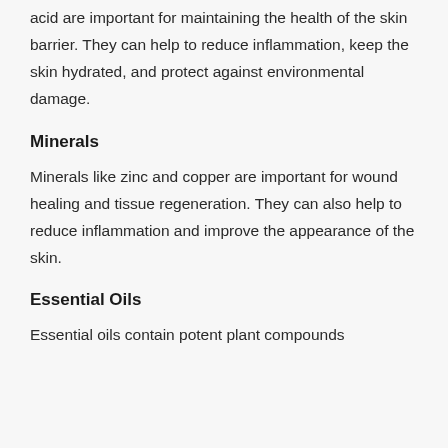acid are important for maintaining the health of the skin barrier. They can help to reduce inflammation, keep the skin hydrated, and protect against environmental damage.
Minerals
Minerals like zinc and copper are important for wound healing and tissue regeneration. They can also help to reduce inflammation and improve the appearance of the skin.
Essential Oils
Essential oils contain potent plant compounds